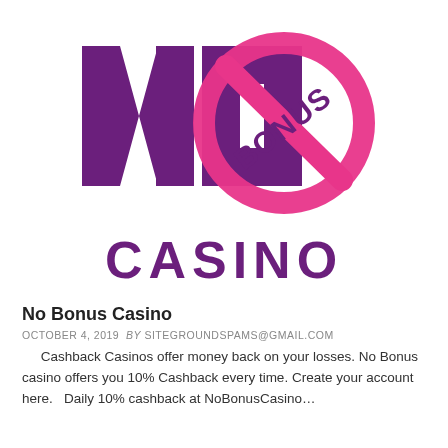[Figure (logo): No Bonus Casino logo: large bold purple letters 'NO' with a pink circle/prohibition sign overlaid containing the word 'BONUS', below which is the word 'CASINO' in large bold purple letters.]
No Bonus Casino
OCTOBER 4, 2019 BY SITEGROUNDSPAMS@GMAIL.COM
Cashback Casinos offer money back on your losses. No Bonus casino offers you 10% Cashback every time. Create your account here.   Daily 10% cashback at NoBonusCasino…